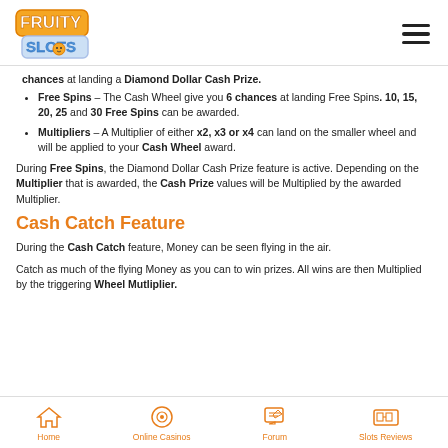Fruity Slots
chances at landing a Diamond Dollar Cash Prize.
Free Spins – The Cash Wheel give you 6 chances at landing Free Spins. 10, 15, 20, 25 and 30 Free Spins can be awarded.
Multipliers – A Multiplier of either x2, x3 or x4 can land on the smaller wheel and will be applied to your Cash Wheel award.
During Free Spins, the Diamond Dollar Cash Prize feature is active. Depending on the Multiplier that is awarded, the Cash Prize values will be Multiplied by the awarded Multiplier.
Cash Catch Feature
During the Cash Catch feature, Money can be seen flying in the air.
Catch as much of the flying Money as you can to win prizes. All wins are then Multiplied by the triggering Wheel Mutliplier.
Home  Online Casinos  Forum  Slots Reviews